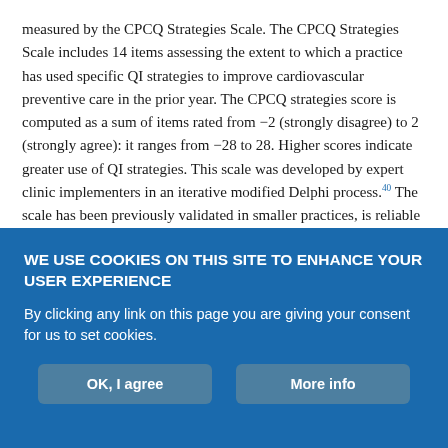measured by the CPCQ Strategies Scale. The CPCQ Strategies Scale includes 14 items assessing the extent to which a practice has used specific QI strategies to improve cardiovascular preventive care in the prior year. The CPCQ strategies score is computed as a sum of items rated from −2 (strongly disagree) to 2 (strongly agree): it ranges from −28 to 28. Higher scores indicate greater use of QI strategies. This scale was developed by expert clinic implementers in an iterative modified Delphi process.40 The scale has been previously validated in smaller practices, is reliable in measuring practice use of QI strategies, and correlates well with change in practice and care quality outcomes.9,41
WE USE COOKIES ON THIS SITE TO ENHANCE YOUR USER EXPERIENCE
By clicking any link on this page you are giving your consent for us to set cookies.